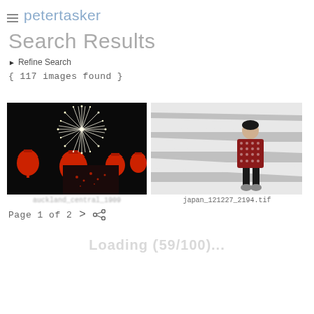petertasker
Search Results
▶ Refine Search
{ 117 images found }
[Figure (photo): Fireworks explosion above red Chinese lanterns against a dark night sky, with a partial smaller image below showing scattered red dots (partially obscured by loading overlay).]
auckland_central_1909
[Figure (photo): Black and white street photography of a pedestrian crossing (zebra stripes), with a child or person wearing a bright red/maroon patterned outfit standing at the crossing.]
japan_121227_2194.tif
Page 1 of 2  >  <share>